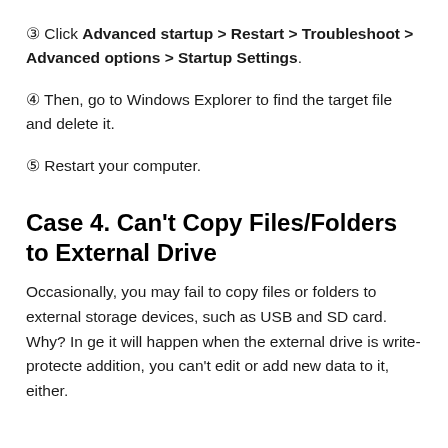③ Click Advanced startup > Restart > Troubleshoot > Advanced options > Startup Settings.
④ Then, go to Windows Explorer to find the target file and delete it.
⑤ Restart your computer.
Case 4. Can't Copy Files/Folders to External Drive
Occasionally, you may fail to copy files or folders to external storage devices, such as USB and SD card. Why? In ge... it will happen when the external drive is write-protecte... addition, you can't edit or add new data to it, either.